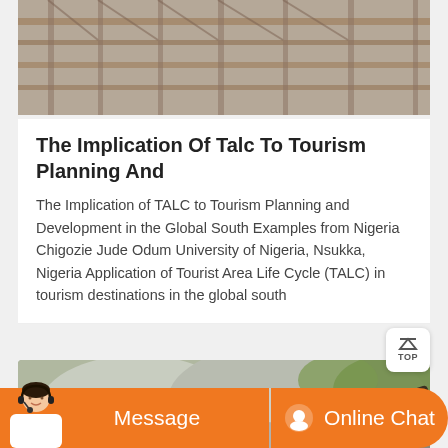[Figure (photo): Scaffolding and construction materials at a building site, viewed from above]
The Implication Of Talc To Tourism Planning And
The Implication of TALC to Tourism Planning and Development in the Global South Examples from Nigeria Chigozie Jude Odum University of Nigeria, Nsukka, Nigeria Application of Tourist Area Life Cycle (TALC) in tourism destinations in the global south
[Figure (photo): Outdoor quarry or mining site with rocky terrain, thatched structures, industrial machinery and conveyor equipment]
Message
Online Chat